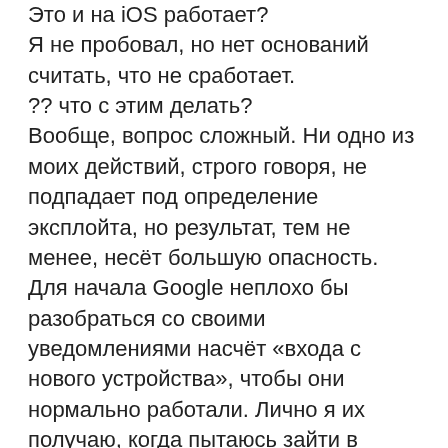Это и на iOS работает?
Я не пробовал, но нет оснований считать, что не сработает.
?? что с этим делать?
Вообще, вопрос сложный. Ни одно из моих действий, строго говоря, не подпадает под определение эксплойта, но результат, тем не менее, несёт большую опасность. Для начала Google неплохо бы разобраться со своими уведомлениями насчёт «входа с нового устройства», чтобы они нормально работали. Лично я их получаю, когда пытаюсь зайти в аккаунт с компьютера, но, пока тестировал это приложение, система не сработала ни разу. Другая хорошая идея – обновить гайдлайны, в том, что касается кнопок «Войти с Google»; сейчас там вообще ничего не говорится о требованиях к реализации. Возможно, им